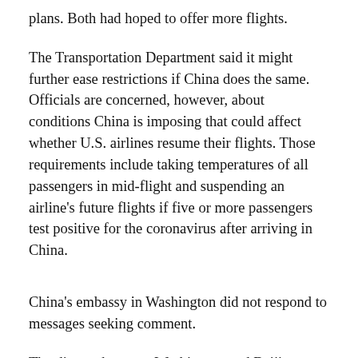plans. Both had hoped to offer more flights.
The Transportation Department said it might further ease restrictions if China does the same. Officials are concerned, however, about conditions China is imposing that could affect whether U.S. airlines resume their flights. Those requirements include taking temperatures of all passengers in mid-flight and suspending an airline's future flights if five or more passengers test positive for the coronavirus after arriving in China.
China's embassy in Washington did not respond to messages seeking comment.
The dispute between Washington and Beijing over airline service has been building for weeks and is part of broader trade and diplomatic tension between the world's two biggest economies.